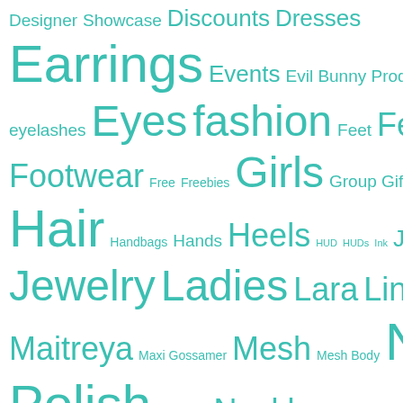[Figure (infographic): Tag cloud with fashion/lifestyle tags in teal/turquoise color on white background. Tags vary in font size based on frequency/importance. Tags include: Designer, Showcase, Discounts, Dresses, Earrings, Events, Evil Bunny Productions, Exclusives, eyelashes, Eyes, fashion, Feet, Females, Footwear, Free, Freebies, Girls, Group Gifts, Hair, Handbags, Hands, Heels, HUD, HUDs, Ink, JCNY, Jewelry, Ladies, Lara, Linden Labs, Maitreya, Maxi Gossamer, Mesh, Mesh Body, Nail Polish, Necklace, Necklaces, Omega, Outfits, Pants, Poses, Rings, Sales, Sales Rooms, Sandals, Second Life, Sets, Sexy, Shapes]